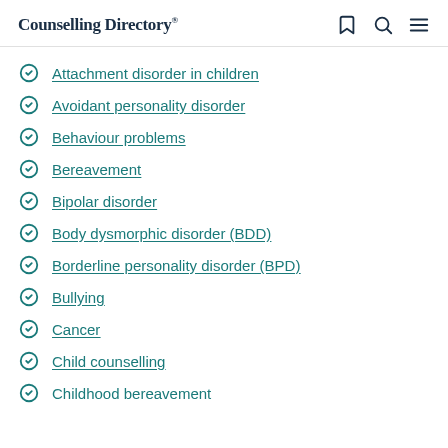Counselling Directory
Attachment disorder in children
Avoidant personality disorder
Behaviour problems
Bereavement
Bipolar disorder
Body dysmorphic disorder (BDD)
Borderline personality disorder (BPD)
Bullying
Cancer
Child counselling
Childhood bereavement